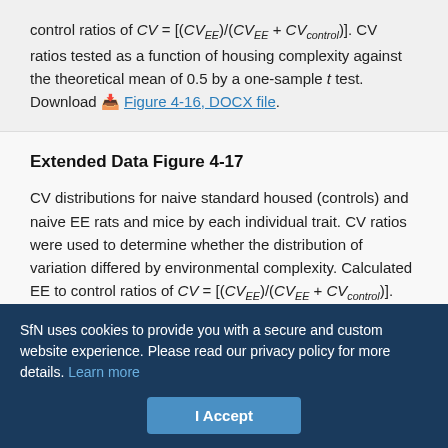control ratios of CV = [(CV_EE)/(CV_EE + CV_control)]. CV ratios tested as a function of housing complexity against the theoretical mean of 0.5 by a one-sample t test. Download Figure 4-16, DOCX file.
Extended Data Figure 4-17
CV distributions for naive standard housed (controls) and naive EE rats and mice by each individual trait. CV ratios were used to determine whether the distribution of variation differed by environmental complexity. Calculated EE to control ratios of CV = [(CV_EE)/(CV_EE + CV_control)]. CV ratios tested as a function of housing complexity against the theoretical mean of 0.5 by a